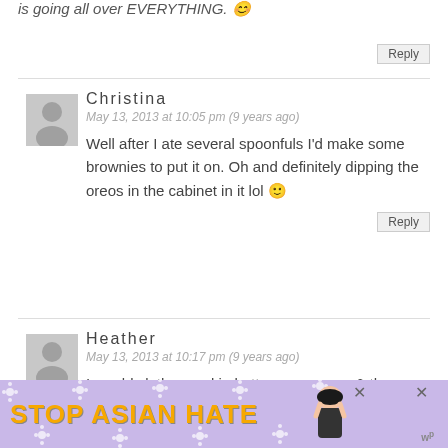is going all over EVERYTHING. 😊
Reply
Christina
May 13, 2013 at 10:05 pm (9 years ago)
Well after I ate several spoonfuls I'd make some brownies to put it on. Oh and definitely dipping the oreos in the cabinet in it lol 🙂
Reply
Heather
May 13, 2013 at 10:17 pm (9 years ago)
I would slather cookie butter on a spoon & then pop it in my mouth!
[Figure (photo): Advertisement banner: STOP ASIAN HATE with floral background and anime character]